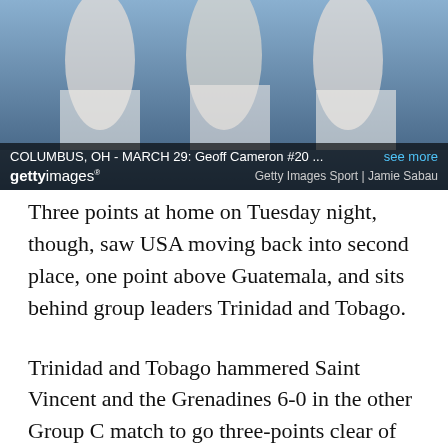[Figure (photo): Soccer players in white uniforms, Getty Images photo with caption overlay: COLUMBUS, OH - MARCH 29: Geoff Cameron #20 ... see more. Getty Images Sport | Jamie Sabau]
Three points at home on Tuesday night, though, saw USA moving back into second place, one point above Guatemala, and sits behind group leaders Trinidad and Tobago.
Trinidad and Tobago hammered Saint Vincent and the Grenadines 6-0 in the other Group C match to go three-points clear of the United States in the race for the top spot in the standings.
A brace from Trevin Caesar and one goal each from Sheldon Bateau, Joevin Jones, Kenwyne Jones and